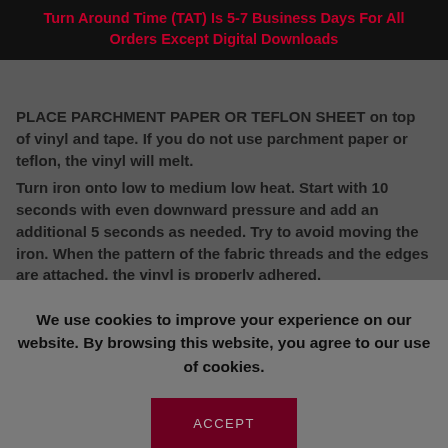Turn Around Time (TAT) Is 5-7 Business Days For All Orders Except Digital Downloads
PLACE PARCHMENT PAPER OR TEFLON SHEET on top of vinyl and tape. If you do not use parchment paper or teflon, the vinyl will melt.
Turn iron onto low to medium low heat. Start with 10 seconds with even downward pressure and add an additional 5 seconds as needed. Try to avoid moving the iron. When the pattern of the fabric threads and the edges are attached, the vinyl is properly adhered.
We use cookies to improve your experience on our website. By browsing this website, you agree to our use of cookies.
ACCEPT